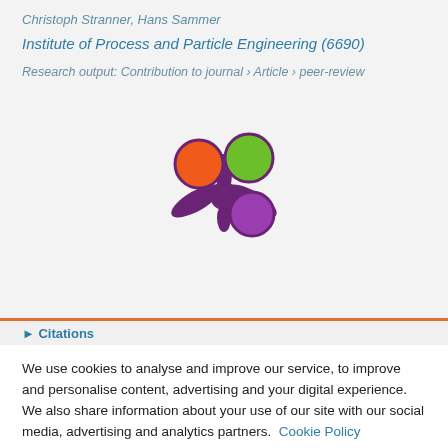Christoph Stranner, Hans Sammer
Institute of Process and Particle Engineering (6690)
Research output: Contribution to journal › Article › peer-review
[Figure (logo): Altmetric logo with orange, green, and purple circles connected by dark purple splat shape]
We use cookies to analyse and improve our service, to improve and personalise content, advertising and your digital experience. We also share information about your use of our site with our social media, advertising and analytics partners.  Cookie Policy